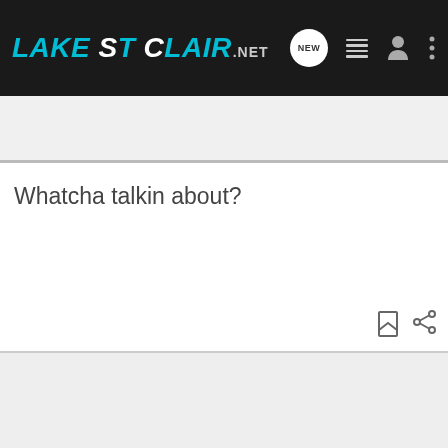LakeStClair.NET
Search Community
Whatcha talkin about?
[Figure (screenshot): Ad banner: YOUR NEW FAVORITE SPORT — EXPLORE HOW TO RESPONSIBLY PARTICIPATE IN THE SHOOTING SPORTS. START HERE!]